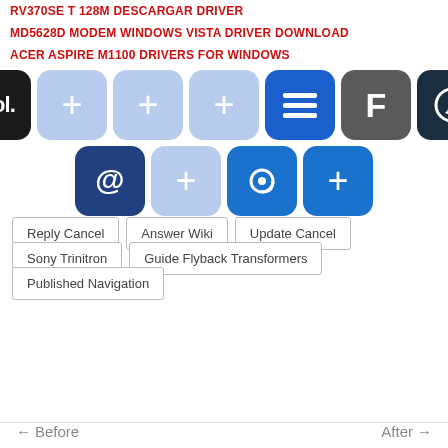RV370SE T 128M DESCARGAR DRIVER
MD5628D MODEM WINDOWS VISTA DRIVER DOWNLOAD
ACER ASPIRE M1100 DRIVERS FOR WINDOWS
[Figure (screenshot): Grid of app/shortcut icons: AOL (black), plus icons (light blue, medium), hamburger menu (blue), F (dark gray), pencil/edit (dark), at-sign (dark blue), plus (light blue), at-sign (blue), plus (blue)]
Reply Cancel
Answer Wiki
Update Cancel
Sony Trinitron
Guide Flyback Transformers
Published Navigation
← Before    After →